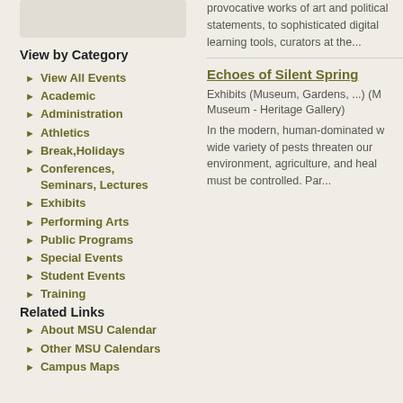[Figure (other): Light gray rounded rectangle placeholder image in left column]
provocative works of art and political statements, to sophisticated digital learning tools, curators at the...
View by Category
View All Events
Academic
Administration
Athletics
Break,Holidays
Conferences, Seminars, Lectures
Exhibits
Performing Arts
Public Programs
Special Events
Student Events
Training
Related Links
About MSU Calendar
Other MSU Calendars
Campus Maps
Echoes of Silent Spring
Exhibits (Museum, Gardens, ...) (Museum - Heritage Gallery)
In the modern, human-dominated world, a wide variety of pests threaten our environment, agriculture, and health and must be controlled. Par...